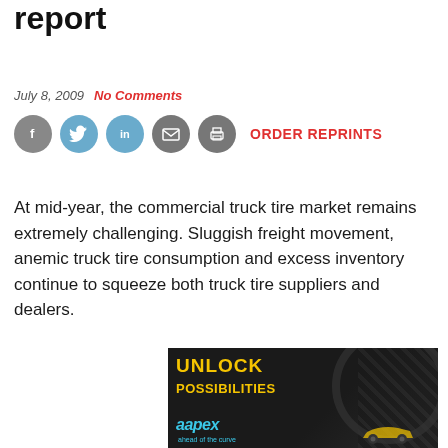report
July 8, 2009   No Comments
[Figure (other): Social media sharing icons: Facebook, Twitter, LinkedIn, Email, Print buttons and ORDER REPRINTS link]
At mid-year, the commercial truck tire market remains extremely challenging. Sluggish freight movement, anemic truck tire consumption and excess inventory continue to squeeze both truck tire suppliers and dealers.
[Figure (photo): Advertisement banner for AAPEX showing 'UNLOCK POSSIBILITIES' text in yellow on dark background with aapex logo in blue and 'ahead of the curve' tagline]